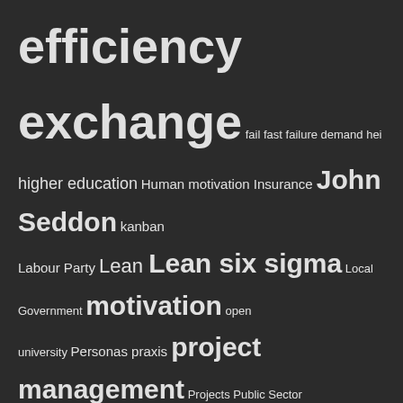[Figure (infographic): Tag cloud with terms of varying sizes on dark background. Includes: efficiency exchange, fail fast, failure, demand, hei, higher education, Human motivation, Insurance, John Seddon, kanban, Labour Party, Lean, Lean six sigma, Local Government, motivation, open university, Personas, praxis, project management, Projects, Public Sector, Purpose, ray ison, retrospectives, scrum, Service design, Services improvement, systems thinking, targets, The systems thinking review, the Vanguard Method, transformation, Universities, University]
RECENT POSTS
Whac-a-mole projects
Reflecting upon Personas
Designing and doing in a traditional programme environment